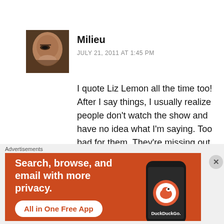[Figure (photo): Avatar photo of user Milieu showing a close-up of a face/eye in warm tones]
Milieu
JULY 21, 2011 AT 1:45 PM
I quote Liz Lemon all the time too! After I say things, I usually realize people don't watch the show and have no idea what I'm saying. Too bad for them. They're missing out.
I couldn't go that long without buying new clothes. Shopping can be therapy for me! I am trying to not buy clothing until after my wedding
Advertisements
[Figure (screenshot): DuckDuckGo advertisement banner with orange background. Text: Search, browse, and email with more privacy. All in One Free App. Shows a phone with DuckDuckGo logo.]